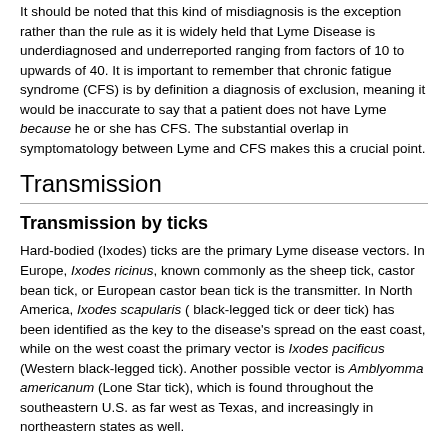It should be noted that this kind of misdiagnosis is the exception rather than the rule as it is widely held that Lyme Disease is underdiagnosed and underreported ranging from factors of 10 to upwards of 40. It is important to remember that chronic fatigue syndrome (CFS) is by definition a diagnosis of exclusion, meaning it would be inaccurate to say that a patient does not have Lyme because he or she has CFS. The substantial overlap in symptomatology between Lyme and CFS makes this a crucial point.
Transmission
Transmission by ticks
Hard-bodied (Ixodes) ticks are the primary Lyme disease vectors. In Europe, Ixodes ricinus, known commonly as the sheep tick, castor bean tick, or European castor bean tick is the transmitter. In North America, Ixodes scapularis ( black-legged tick or deer tick) has been identified as the key to the disease's spread on the east coast, while on the west coast the primary vector is Ixodes pacificus (Western black-legged tick). Another possible vector is Amblyomma americanum (Lone Star tick), which is found throughout the southeastern U.S. as far west as Texas, and increasingly in northeastern states as well.
The longer the duration of tick attachment, the greater the risk of disease transmission, but, typically, for the spirochete to be transferred, the tick